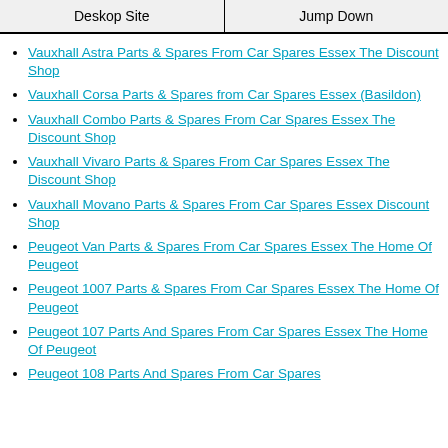Deskop Site | Jump Down
Vauxhall Astra Parts & Spares From Car Spares Essex The Discount Shop
Vauxhall Corsa Parts & Spares from Car Spares Essex (Basildon)
Vauxhall Combo Parts & Spares From Car Spares Essex The Discount Shop
Vauxhall Vivaro Parts & Spares From Car Spares Essex The Discount Shop
Vauxhall Movano Parts & Spares From Car Spares Essex Discount Shop
Peugeot Van Parts & Spares From Car Spares Essex The Home Of Peugeot
Peugeot 1007 Parts & Spares From Car Spares Essex The Home Of Peugeot
Peugeot 107 Parts And Spares From Car Spares Essex The Home Of Peugeot
Peugeot 108 Parts And Spares From Car Spares